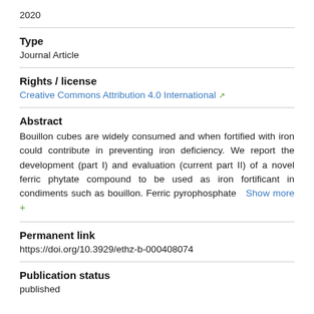2020
Type
Journal Article
Rights / license
Creative Commons Attribution 4.0 International
Abstract
Bouillon cubes are widely consumed and when fortified with iron could contribute in preventing iron deficiency. We report the development (part I) and evaluation (current part II) of a novel ferric phytate compound to be used as iron fortificant in condiments such as bouillon. Ferric pyrophosphate  Show more +
Permanent link
https://doi.org/10.3929/ethz-b-000408074
Publication status
published